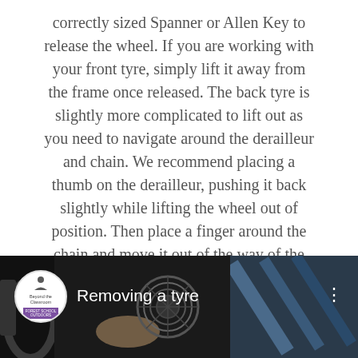correctly sized Spanner or Allen Key to release the wheel. If you are working with your front tyre, simply lift it away from the frame once released. The back tyre is slightly more complicated to lift out as you need to navigate around the derailleur and chain. We recommend placing a thumb on the derailleur, pushing it back slightly while lifting the wheel out of position. Then place a finger around the chain and move it out of the way of the cassette while you free the wheel.
[Figure (screenshot): YouTube video thumbnail showing a bicycle wheel/cassette close-up, with a circular logo for 'Beyond the Classroom', the title 'Removing a tyre', and a three-dot menu icon on a dark background.]